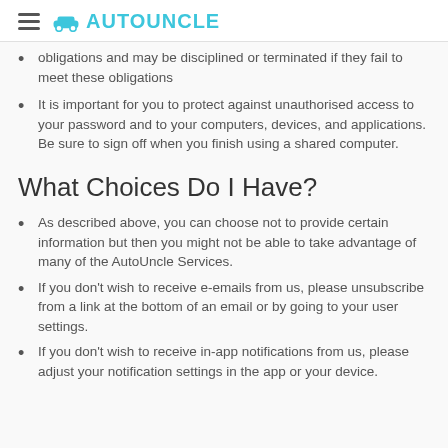≡ AUTOUNCLE
obligations and may be disciplined or terminated if they fail to meet these obligations
It is important for you to protect against unauthorised access to your password and to your computers, devices, and applications. Be sure to sign off when you finish using a shared computer.
What Choices Do I Have?
As described above, you can choose not to provide certain information but then you might not be able to take advantage of many of the AutoUncle Services.
If you don't wish to receive e-emails from us, please unsubscribe from a link at the bottom of an email or by going to your user settings.
If you don't wish to receive in-app notifications from us, please adjust your notification settings in the app or your device.